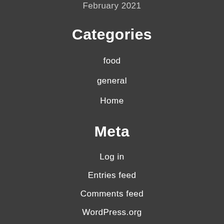February 2021
Categories
food
general
Home
Meta
Log in
Entries feed
Comments feed
WordPress.org